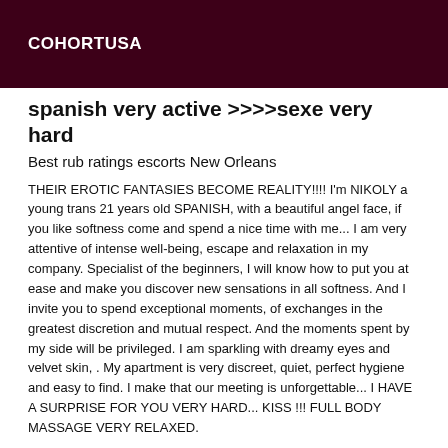COHORTUSA
spanish very active >>>>sexe very hard
Best rub ratings escorts New Orleans
THEIR EROTIC FANTASIES BECOME REALITY!!!! I'm NIKOLY a young trans 21 years old SPANISH, with a beautiful angel face, if you like softness come and spend a nice time with me... I am very attentive of intense well-being, escape and relaxation in my company. Specialist of the beginners, I will know how to put you at ease and make you discover new sensations in all softness. And I invite you to spend exceptional moments, of exchanges in the greatest discretion and mutual respect. And the moments spent by my side will be privileged. I am sparkling with dreamy eyes and velvet skin, . My apartment is very discreet, quiet, perfect hygiene and easy to find. I make that our meeting is unforgettable... I HAVE A SURPRISE FOR YOU VERY HARD... KISS !!! FULL BODY MASSAGE VERY RELAXED.